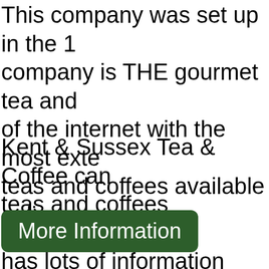This company was set up in the 1 company is THE gourmet tea and of the internet with the most exten teas and coffees available online.
Kent & Sussex Tea & Coffee can teas and coffees anywhere. Shop has lots of information about the c coffees available.
More Information